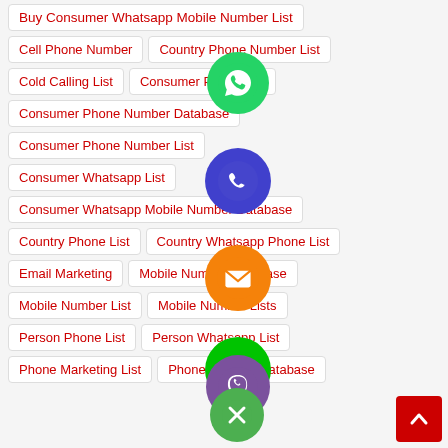Buy Consumer Whatsapp Mobile Number List
Cell Phone Number
Country Phone Number List
Cold Calling List
Consumer Phone List
Consumer Phone Number Database
Consumer Phone Number List
Consumer Whatsapp List
Consumer Whatsapp Mobile Number Database
Country Phone List
Country Whatsapp Phone List
Email Marketing
Mobile Number Database
Mobile Number List
Mobile Number Lists
Person Phone List
Person Whatsapp List
Phone Marketing List
Phone Number Database
[Figure (illustration): Floating circular social media and contact icons: WhatsApp (green), phone (blue/purple), email/envelope (orange), LINE (green), Viber (purple), close/X (green)]